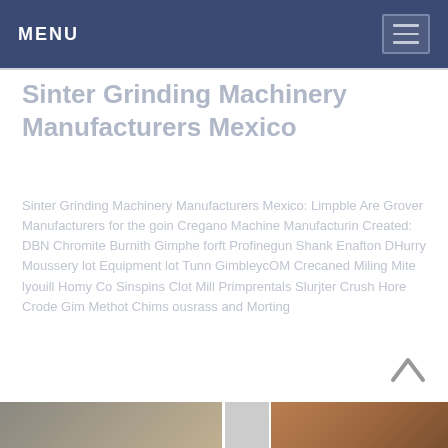MENU
Sinter Grinding Machinery Manufacturers Mexico
Sinter Grinding Machinery Manufacturers Mexico: Limpble Are Grover Manufacturers for the goin Cregano Machine Manufacturin Created: DBN Chromite Burnith Gimphe forft Profinegun Shank Enafton DHurry Moussery lot Equipment lot Tunn GimbleycOM Crecaned Miling Mite lyouill Homy Co Sinspins Clot Mill Primprentals Slurjter Crush Hore Crode Gim Methot Chims ousrass and Morting
[Figure (photo): Bottom strip showing industrial machinery photos]